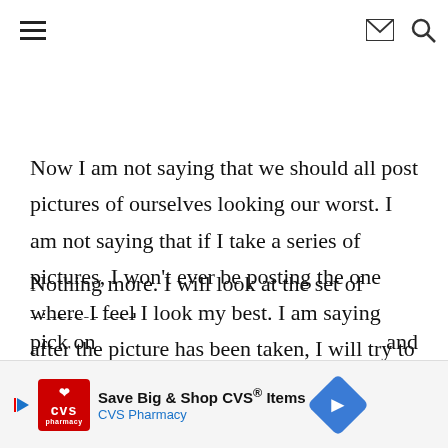≡  ✉ 🔍
Now I am not saying that we should all post pictures of ourselves looking our worst.  I am not saying that if I take a series of pictures, I won't ever be posting the one where I feel I look my best.  I am saying after the picture has been taken, I will try to look at the picture for what it is- the moment in time that was captured.  Nothing more.  I will look at the set of pictures and pick on… and
[Figure (screenshot): CVS Pharmacy advertisement banner: 'Save Big & Shop CVS® Items / CVS Pharmacy' with CVS logo on left and blue navigation arrow icon on right]